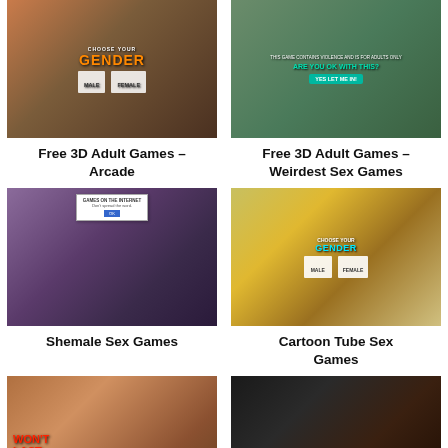[Figure (illustration): 3D adult game thumbnail showing gender selection screen with male/female options]
Free 3D Adult Games – Arcade
[Figure (illustration): 3D adult game thumbnail with age verification screen and teal button saying YES LET ME IN]
Free 3D Adult Games – Weirdest Sex Games
[Figure (illustration): 3D adult game thumbnail with popup dialog and female character]
Shemale Sex Games
[Figure (illustration): Cartoon adult game thumbnail showing gender selection with CHOOSE YOUR GENDER text]
Cartoon Tube Sex Games
[Figure (illustration): 3D adult game thumbnail with won't last text and male character]
[Figure (illustration): 3D adult game thumbnail with CHOOSE YOUR SEX PARTNER text]